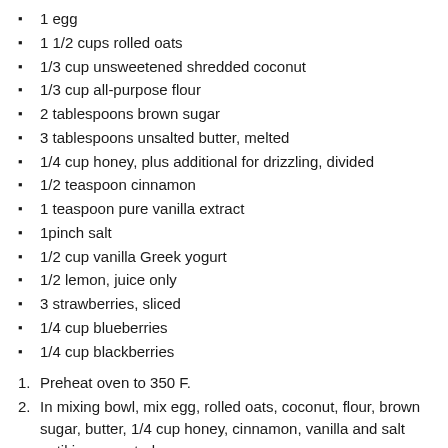1 egg
1 1/2 cups rolled oats
1/3 cup unsweetened shredded coconut
1/3 cup all-purpose flour
2 tablespoons brown sugar
3 tablespoons unsalted butter, melted
1/4 cup honey, plus additional for drizzling, divided
1/2 teaspoon cinnamon
1 teaspoon pure vanilla extract
1pinch salt
1/2 cup vanilla Greek yogurt
1/2 lemon, juice only
3 strawberries, sliced
1/4 cup blueberries
1/4 cup blackberries
1. Preheat oven to 350 F.
2. In mixing bowl, mix egg, rolled oats, coconut, flour, brown sugar, butter, 1/4 cup honey, cinnamon, vanilla and salt until incorporated.